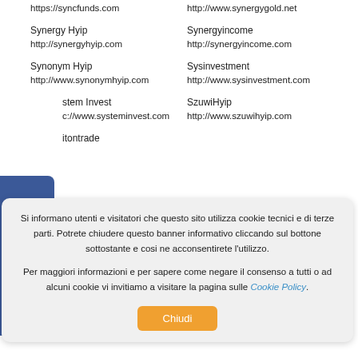https://syncfunds.com
http://www.synergygold.net
Synergy Hyip
http://synergyhyip.com
Synergyincome
http://synergyincome.com
Synonym Hyip
http://www.synonymhyip.com
Sysinvestment
http://www.sysinvestment.com
stem Invest
c://www.systeminvest.com
SzuwiHyip
http://www.szuwihyip.com
itontrade
[Figure (other): Facebook social sidebar button on the left side of the page]
Si informano utenti e visitatori che questo sito utilizza cookie tecnici e di terze parti. Potrete chiudere questo banner informativo cliccando sul bottone sottostante e cosi ne acconsentirete l'utilizzo.
Per maggiori informazioni e per sapere come negare il consenso a tutti o ad alcuni cookie vi invitiamo a visitare la pagina sulle Cookie Policy.